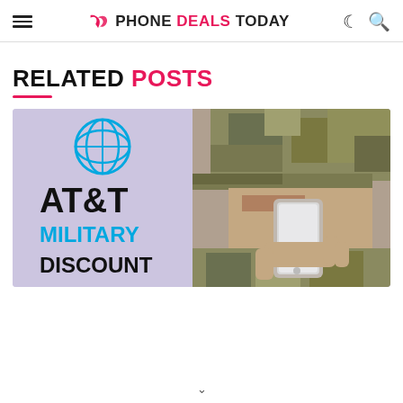PHONE DEALS TODAY
RELATED POSTS
[Figure (photo): AT&T Military Discount promotional image showing the AT&T logo, the text 'AT&T MILITARY DISCOUNT' on a light purple background, and a woman in military camouflage uniform looking at a smartphone.]